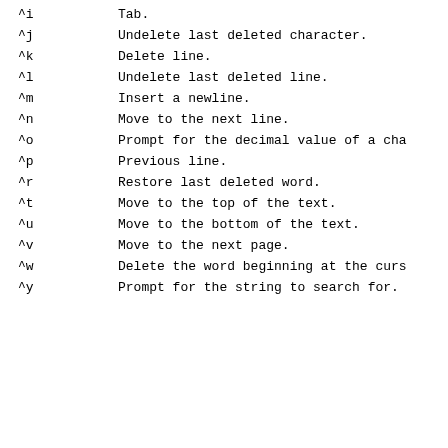^i    Tab.
^j    Undelete last deleted character.
^k    Delete line.
^l    Undelete last deleted line.
^m    Insert a newline.
^n    Move to the next line.
^o    Prompt for the decimal value of a cha
^p    Previous line.
^r    Restore last deleted word.
^t    Move to the top of the text.
^u    Move to the bottom of the text.
^v    Move to the next page.
^w    Delete the word beginning at the curs
^y    Prompt for the string to search for.